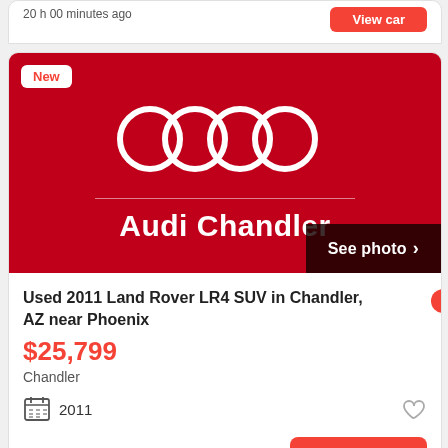20 h 00 minutes ago
[Figure (logo): Audi Chandler dealer banner with Audi four-ring logo on red background, 'Audi Chandler' text, and 'See photo >' button]
New
Used 2011 Land Rover LR4 SUV in Chandler, AZ near Phoenix
$25,799
Chandler
2011
20 h 18 minutes ago
View car